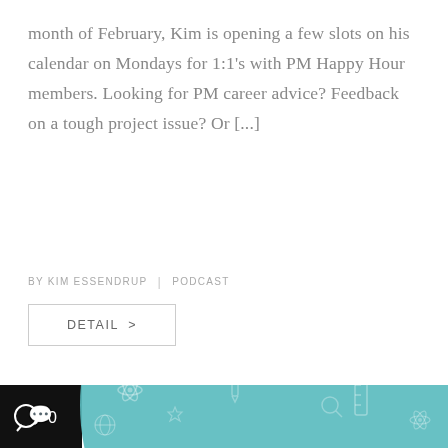month of February, Kim is opening a few slots on his calendar on Mondays for 1:1's with PM Happy Hour members. Looking for PM career advice? Feedback on a tough project issue? Or [...]
BY KIM ESSENDRUP | PODCAST
DETAIL >
[Figure (illustration): Illustration showing a person at a large computer screen with sticky notes, on a teal circular background with educational icons (atom, globe, ruler, pencil). A black badge with a speech bubble and '0' comment count is in the top-left corner.]